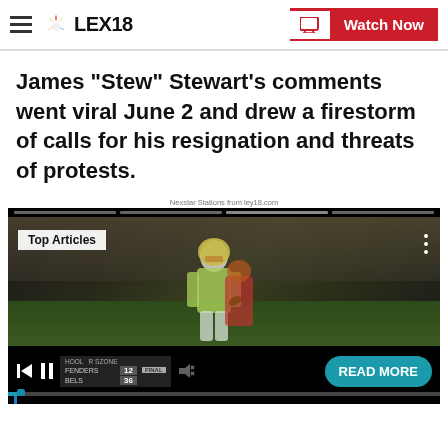LEX18 — Watch Now
James "Stew" Stewart's comments went viral June 2 and drew a firestorm of calls for his resignation and threats of protests.
Nexstar Stations from ley18.com
[Figure (screenshot): Video player showing a football player running with a scoreboard overlay. Top Articles label visible. Controls show skip-back, pause, mute buttons, a scoreboard reading FENDERS 12, BELS 36 FINAL, and a READ MORE teal button.]